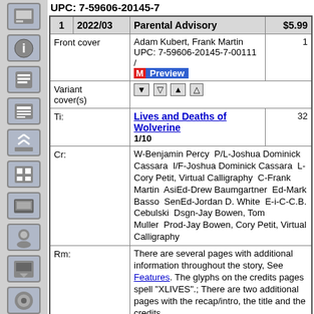UPC: 7-59606-20145-7
| # | Date | Title | Price |
| --- | --- | --- | --- |
| 1 | 2022/03 | Parental Advisory | $5.99 |
| Front cover |  | Adam Kubert, Frank Martin
UPC: 7-59606-20145-7-00111 / [M]Preview | 1 |
| Variant cover(s) |  | [arrow buttons] |  |
| Ti: |  | Lives and Deaths of Wolverine 1/10 | 32 |
| Cr: |  | W-Benjamin Percy P/L-Joshua Dominick Cassara I/F-Joshua Dominick Cassara L-Cory Petit, Virtual Calligraphy C-Frank Martin AsiEd-Drew Baumgartner Ed-Mark Basso SenEd-Jordan D. White E-i-C-C.B. Cebulski Dsgn-Jay Bowen, Tom Muller Prod-Jay Bowen, Cory Petit, Virtual Calligraphy |  |
| Rm: |  | There are several pages with additional information throughout the story, See Features. The glyphs on the credits pages spell "XLIVES".; There are two additional pages with the recap/intro, the title and the credits. |  |
| Rn: |  | Reprinted in |  |